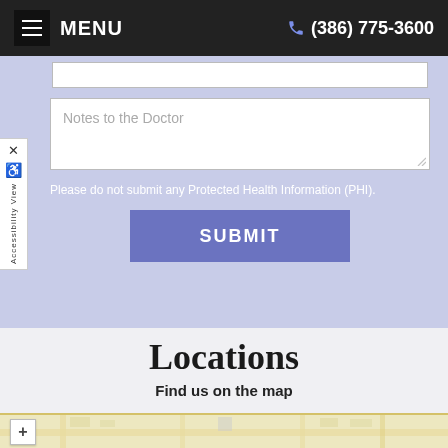MENU   (386) 775-3600
[Figure (screenshot): Notes to the Doctor text area input field with placeholder text]
Please do not submit any Protected Health Information (PHI).
SUBMIT
Locations
Find us on the map
[Figure (map): Google Maps preview showing local area map with zoom controls]